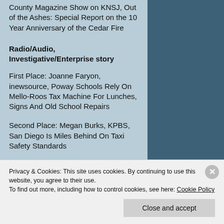County Magazine Show on KNSJ, Out of the Ashes: Special Report on the 10 Year Anniversary of the Cedar Fire
Radio/Audio, Investigative/Enterprise story
First Place: Joanne Faryon, inewsource, Poway Schools Rely On Mello-Roos Tax Machine For Lunches, Signs And Old School Repairs
Second Place: Megan Burks, KPBS, San Diego Is Miles Behind On Taxi Safety Standards
Privacy & Cookies: This site uses cookies. By continuing to use this website, you agree to their use.
To find out more, including how to control cookies, see here: Cookie Policy